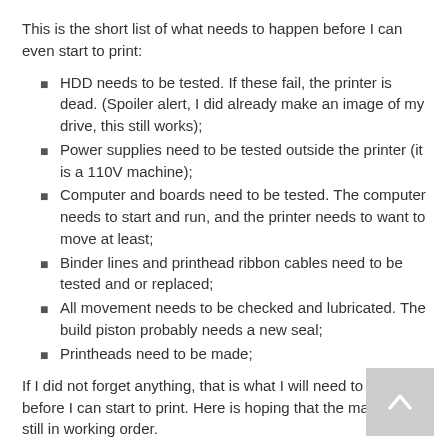This is the short list of what needs to happen before I can even start to print:
HDD needs to be tested. If these fail, the printer is dead. (Spoiler alert, I did already make an image of my drive, this still works);
Power supplies need to be tested outside the printer (it is a 110V machine);
Computer and boards need to be tested. The computer needs to start and run, and the printer needs to want to move at least;
Binder lines and printhead ribbon cables need to be tested and or replaced;
All movement needs to be checked and lubricated. The build piston probably needs a new seal;
Printheads need to be made;
If I did not forget anything, that is what I will need to do before I can start to print. Here is hoping that the machine is still in working order.